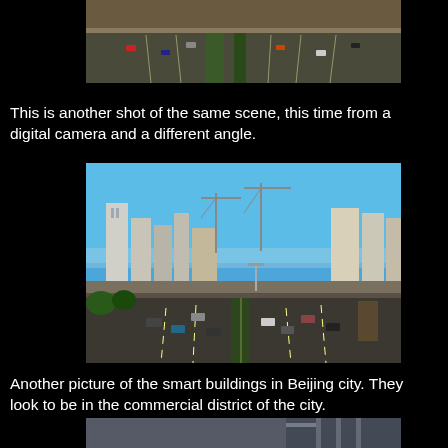[Figure (photo): Aerial/elevated view of a multi-lane highway with cars, overpasses and green median strips, top portion only visible]
This is another shot of the same scene, this time from a digital camera and a different angle.
[Figure (photo): Wide multi-lane expressway in Beijing city with tall modern commercial buildings and construction cranes in the background under a clear blue sky]
Another picture of the smart buildings in Beijing city. They look to be in the commercial district of the city.
[Figure (photo): Partial view of a building in Beijing, bottom of page]